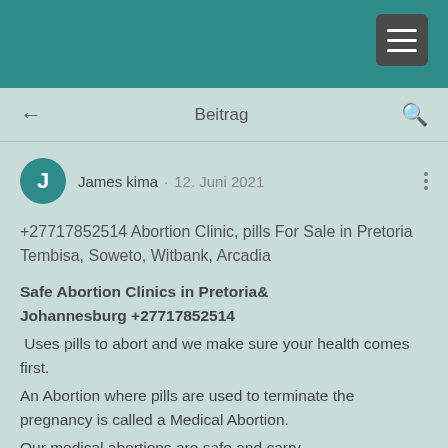[Figure (screenshot): Mobile app header bar in teal/dark green with a hamburger menu button in the top right corner]
Beitrag
James kima · 12. Juni 2021
+27717852514 Abortion Clinic, pills For Sale in Pretoria Tembisa, Soweto, Witbank, Arcadia
Safe Abortion Clinics in Pretoria& Johannesburg +27717852514
 Uses pills to abort and we make sure your health comes first.
An Abortion where pills are used to terminate the pregnancy is called a Medical Abortion.
Our medical abortions are safe and carry